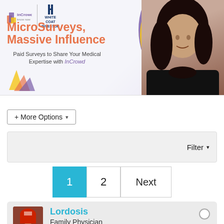[Figure (illustration): InCrowd and White Coat Investor advertisement banner. Orange bold headline reads 'MicroSurveys, Massive Influence'. Subtitle: 'Paid Surveys to Share Your Medical Expertise with InCrowd'. Woman in black jacket visible on right side.]
+ More Options ▾
Filter ▾
1  2  Next
Lordosis
Family Physician